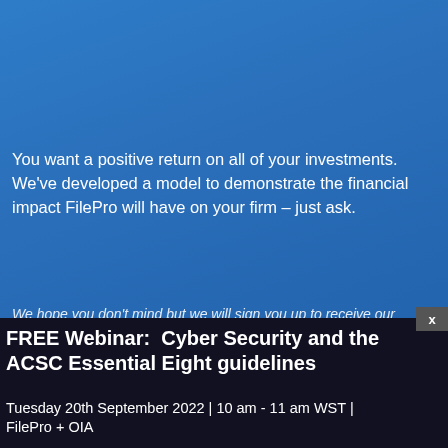obligation demonstration.
You want a positive return on all of your investments. We've developed a model to demonstrate the financial impact FilePro will have on your firm – just ask.
We hope you don't mind but we will sign you up to receive our monthly eNewsletter filled with articles from experts across the legal profession – no spam, we promise.
First Name
FREE Webinar:  Cyber Security and the ACSC Essential Eight guidelines
Tuesday 20th September 2022 | 10 am - 11 am WST | FilePro + OIA